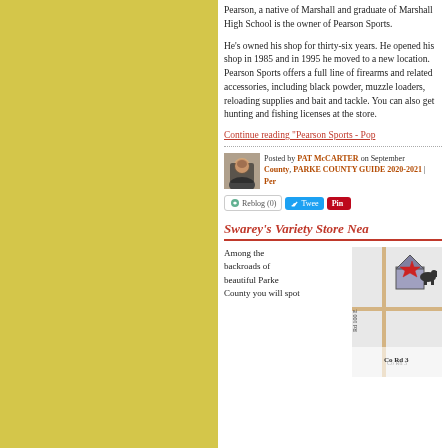Pearson, a native of Marshall and graduate of Marshall High School is the owner of Pearson Sports.
He's owned his shop for thirty-six years. He opened his shop in 1985 and in 1995 he moved to a new location. Pearson Sports offers a full line of firearms and related accessories, including black powder, muzzle loaders, reloading supplies and bait and tackle. You can also get hunting and fishing licenses at the store.
Continue reading "Pearson Sports - Pop..."
Posted by PAT McCARTER on September ... County, PARKE COUNTY GUIDE 2020-2021 | Per...
Swarey's Variety Store Nea...
Among the backroads of beautiful Parke County you will spot